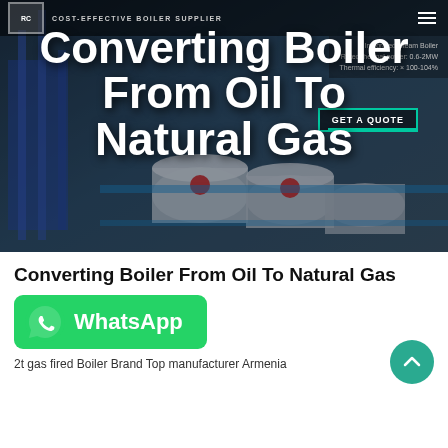[Figure (photo): Hero banner showing industrial boilers in a facility with dark blue overlay and large white text title overlay. Contains navigation bar with logo and 'COST-EFFECTIVE BOILER SUPPLIER' text, plus 'GET A QUOTE' button with green underline.]
Converting Boiler From Oil To Natural Gas
[Figure (other): Green WhatsApp button with phone icon and 'WhatsApp' label]
2t gas fired Boiler Brand Top manufacturer Armenia